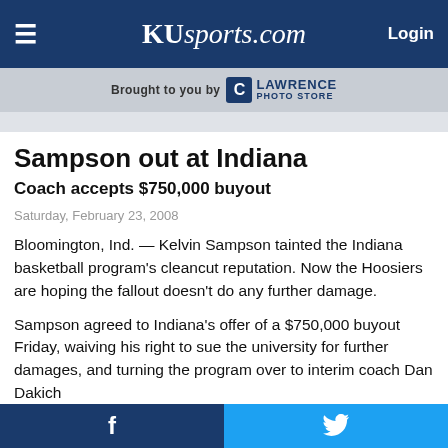KUsports.com  Login
[Figure (logo): Brought to you by Lawrence Photo Store sponsor banner]
Sampson out at Indiana
Coach accepts $750,000 buyout
Saturday, February 23, 2008
Bloomington, Ind. — Kelvin Sampson tainted the Indiana basketball program's cleancut reputation. Now the Hoosiers are hoping the fallout doesn't do any further damage.
Sampson agreed to Indiana's offer of a $750,000 buyout Friday, waiving his right to sue the university for further damages, and turning the program over to interim coach Dan Dakich
f  (Twitter bird icon)